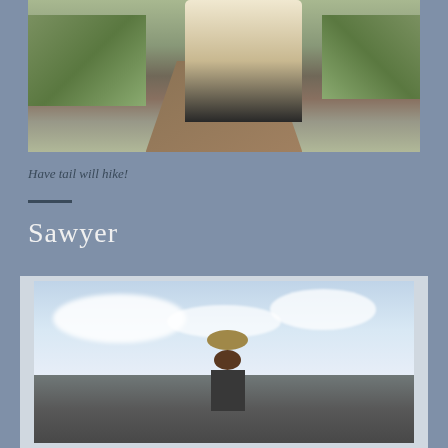[Figure (photo): Outdoor photo showing a dog with a fluffy tail on a path, surrounded by green grass and vegetation]
Have tail will hike!
Sawyer
[Figure (photo): Person wearing a hat standing outdoors under a cloudy sky with dark ground/horizon in the background]